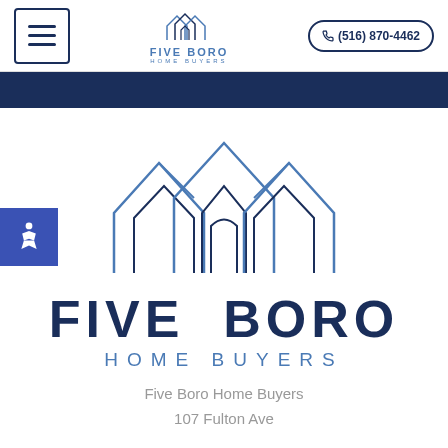[Figure (logo): Five Boro Home Buyers logo in header — small house icon with overlapping roof lines above text FIVE BORO HOME BUYERS]
(516) 870-4462
[Figure (logo): Large Five Boro Home Buyers logo — overlapping house outline icons in blue above large text FIVE BORO HOME BUYERS]
Five Boro Home Buyers
107 Fulton Ave